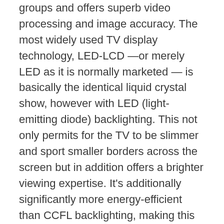groups and offers superb video processing and image accuracy. The most widely used TV display technology, LED-LCD —or merely LED as it is normally marketed — is basically the identical liquid crystal show, however with LED (light-emitting diode) backlighting. This not only permits for the TV to be slimmer and sport smaller borders across the screen but in addition offers a brighter viewing expertise. It's additionally significantly more energy-efficient than CCFL backlighting, making this the favoured form of the screen today. In our tests, we discovered that it couldn't get as shiny as our primary picks, topping out at round 750 nits instead of 1,000.
But in a state of affairs similar to last year, on this model the Hisense hardware is let down by software program that isn't as refined because the competition's. In our exams of SDR and HDR content, the gamma curve and EOTF, respectively, had been too brilliant no matter what image mode we selected, and we have been unable to correct the issue. As a end result, pictures appeared more washed out and lacked pop in